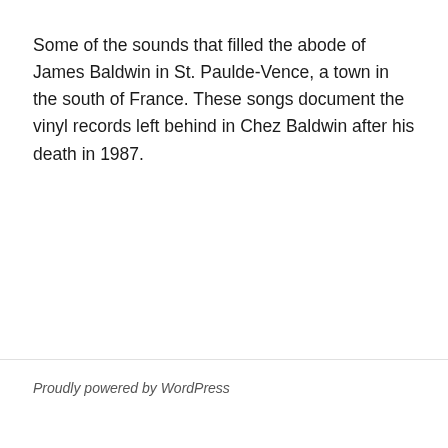Some of the sounds that filled the abode of James Baldwin in St. Paulde-Vence, a town in the south of France. These songs document the vinyl records left behind in Chez Baldwin after his death in 1987.
Proudly powered by WordPress